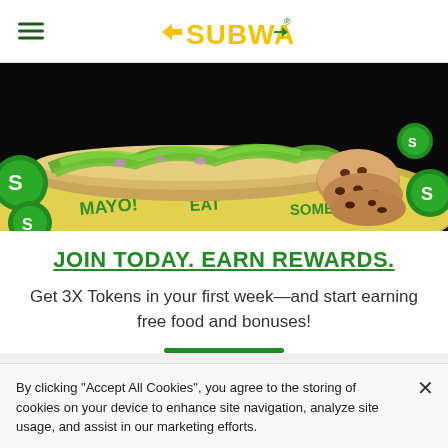[Figure (logo): Subway logo with yellow and green text and arrow icon, centered in header with hamburger menu icon on left]
[Figure (photo): Hero image showing a Subway sandwich with lettuce and vegetables on branded wrapper paper alongside chocolate chip cookies on dark background, with green Subway token coins scattered around]
JOIN TODAY. EARN REWARDS.
Get 3X Tokens in your first week—and start earning free food and bonuses!
By clicking "Accept All Cookies", you agree to the storing of cookies on your device to enhance site navigation, analyze site usage, and assist in our marketing efforts.
Cookies Settings
Accept All Cookies